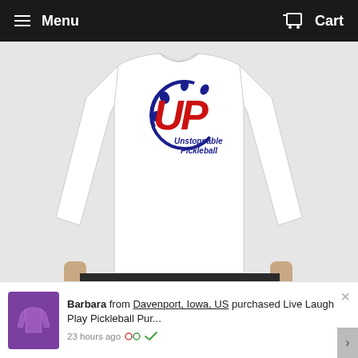≡ Menu   Cart
[Figure (photo): White long-sleeve performance t-shirt with Unstoppable Pickleball logo (UP in red letters with blue circular pickleball design) worn by a person against a light gray background]
Barbara from Davenport, Iowa, US purchased Live Laugh Play Pickleball Pur... 23 hours ago